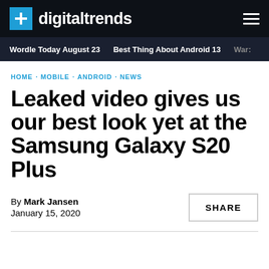digitaltrends
Wordle Today August 23 · Best Thing About Android 13 · War:
HOME · MOBILE · ANDROID · NEWS
Leaked video gives us our best look yet at the Samsung Galaxy S20 Plus
By Mark Jansen
January 15, 2020
SHARE